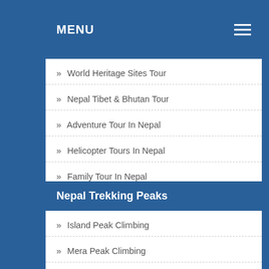MENU
» World Heritage Sites Tour
» Nepal Tibet & Bhutan Tour
» Adventure Tour In Nepal
» Helicopter Tours In Nepal
» Family Tour In Nepal
» Best Tour In Nepal
Nepal Trekking Peaks
» Island Peak Climbing
» Mera Peak Climbing
» Pisang Peak Climbing
» Chulu East Peak Climbing
» Lobuche Peak Climbing
» Nayakanga Peak Climbing